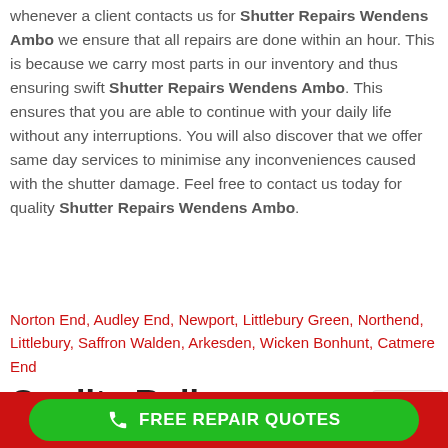whenever a client contacts us for Shutter Repairs Wendens Ambo we ensure that all repairs are done within an hour. This is because we carry most parts in our inventory and thus ensuring swift Shutter Repairs Wendens Ambo. This ensures that you are able to continue with your daily life without any interruptions. You will also discover that we offer same day services to minimise any inconveniences caused with the shutter damage. Feel free to contact us today for quality Shutter Repairs Wendens Ambo.
Norton End, Audley End, Newport, Littlebury Green, Northend, Littlebury, Saffron Walden, Arkesden, Wicken Bonhunt, Catmere End
Quality Roller Shutter
FREE REPAIR QUOTES